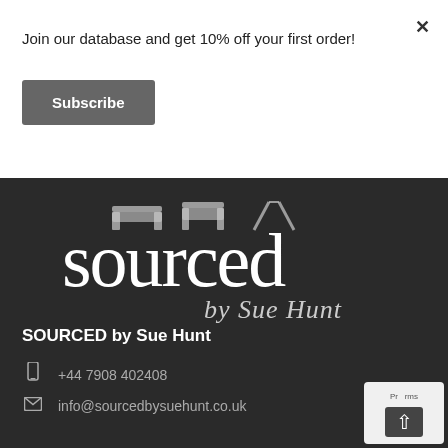Join our database and get 10% off your first order!
Subscribe
×
[Figure (logo): Sourced by Sue Hunt logo — furniture silhouettes above large 'sourced' wordmark with cursive 'by Sue Hunt' underneath, white on dark background]
SOURCED by Sue Hunt
+44 7908 402408
info@sourcedbysuehunt.co.uk